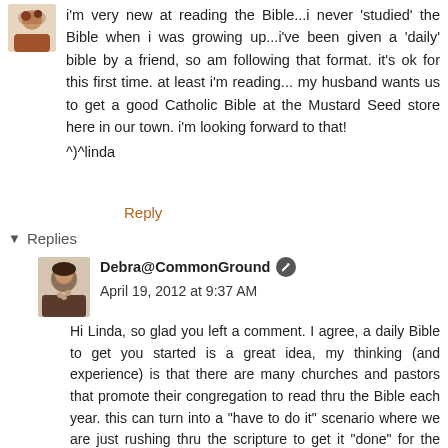i'm very new at reading the Bible...i never 'studied' the Bible when i was growing up...i've been given a 'daily' bible by a friend, so am following that format. it's ok for this first time. at least i'm reading... my husband wants us to get a good Catholic Bible at the Mustard Seed store here in our town. i'm looking forward to that!
^)^linda
Reply
▼ Replies
Debra@CommonGround  April 19, 2012 at 9:37 AM
Hi Linda, so glad you left a comment. I agree, a daily Bible to get you started is a great idea, my thinking (and experience) is that there are many churches and pastors that promote their congregation to read thru the Bible each year. this can turn into a "have to do it" scenario where we are just rushing thru the scripture to get it "done" for the day, and that misses the point of